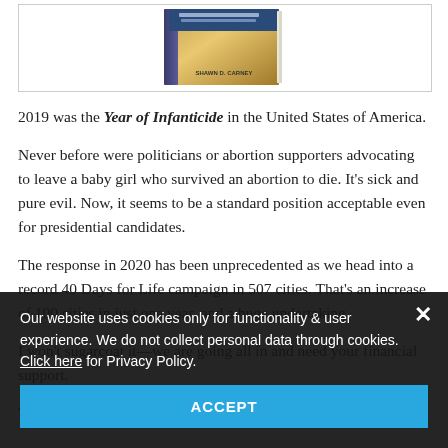[Figure (photo): Book cover image showing a book titled with author SHAWN D. CARNEY, displayed in a bordered frame at the top of the page.]
2019 was the Year of Infanticide in the United States of America.
Never before were politicians or abortion supporters advocating to leave a baby girl who survived an abortion to die. It's sick and pure evil. Now, it seems to be a standard position acceptable even for presidential candidates.
The response in 2020 has been unprecedented as we head into a record 40 Days for Life campaign in 507 cities. That's an increase of 100 cities in just one year, and a huge undertaking.
I won't sugarcoat it—we are going all in and need your financial support.
We rarely email asking for donations and we never...
Our website uses cookies only for functionality & user experience. We do not collect personal data through cookies. Click here for Privacy Policy.